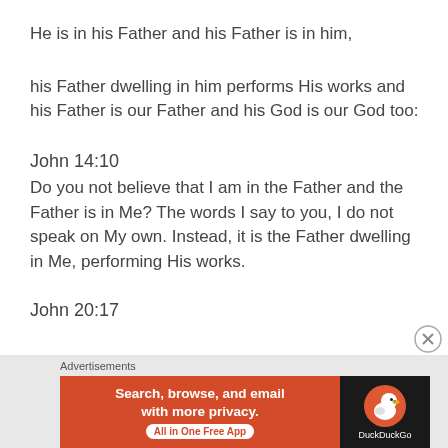He is in his Father and his Father is in him,
his Father dwelling in him performs His works and his Father is our Father and his God is our God too:
John 14:10
Do you not believe that I am in the Father and the Father is in Me? The words I say to you, I do not speak on My own. Instead, it is the Father dwelling in Me, performing His works.
John 20:17
[Figure (other): DuckDuckGo advertisement banner: 'Search, browse, and email with more privacy. All in One Free App' with DuckDuckGo logo on dark background. Ad section labeled 'Advertisements'.]